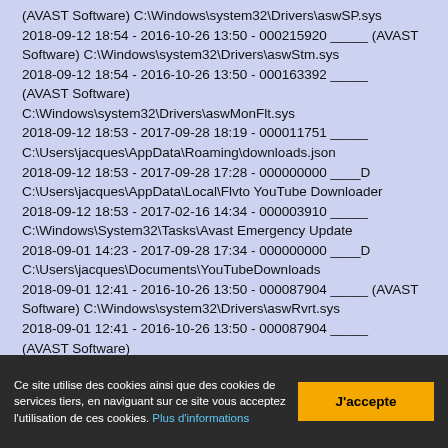(AVAST Software) C:\Windows\system32\Drivers\aswSP.sys
2018-09-12 18:54 - 2016-10-26 13:50 - 000215920 _____ (AVAST Software) C:\Windows\system32\Drivers\aswStm.sys
2018-09-12 18:54 - 2016-10-26 13:50 - 000163392 _____ (AVAST Software) C:\Windows\system32\Drivers\aswMonFlt.sys
2018-09-12 18:53 - 2017-09-28 18:19 - 000011751 _____ C:\Users\jacques\AppData\Roaming\downloads.json
2018-09-12 18:53 - 2017-09-28 17:28 - 000000000 ____D C:\Users\jacques\AppData\Local\Flvto YouTube Downloader
2018-09-12 18:53 - 2017-02-16 14:34 - 000003910 _____ C:\Windows\System32\Tasks\Avast Emergency Update
2018-09-01 14:23 - 2017-09-28 17:34 - 000000000 ____D C:\Users\jacques\Documents\YouTubeDownloads
2018-09-01 12:41 - 2016-10-26 13:50 - 000087904 _____ (AVAST Software) C:\Windows\system32\Drivers\aswRvrt.sys
2018-09-01 12:41 - 2016-10-26 13:50 - 000087904 _____ (AVAST Software) C:\Windows\system32\Drivers\aswac1acf7c15648258.tmp
2018-09-01 12:40 - 2017-11-16 14:21 - 000199712
Ce site utilise des cookies ainsi que des cookies de services tiers, en naviguant sur ce site vous acceptez l'utilisation de ces cookies. Plus d'informations